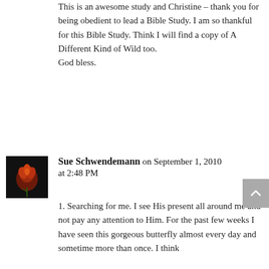This is an awesome study and Christine – thank you for being obedient to lead a Bible Study. I am so thankful for this Bible Study. Think I will find a copy of A Different Kind of Wild too.
God bless.
[Figure (photo): Small avatar image of a red rose/flower on a dark background]
Sue Schwendemann on September 1, 2010 at 2:48 PM
1. Searching for me. I see His present all around me and not pay any attention to Him. For the past few weeks I have seen this gorgeous butterfly almost every day and sometime more than once. I think